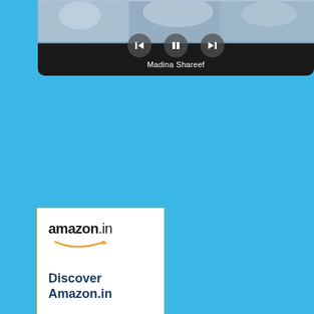[Figure (screenshot): Media player showing Madina Shareef track with playback controls (back, pause, forward) on dark background with image at top]
[Figure (screenshot): Amazon.in advertisement banner showing logo, 'Discover Amazon.in', 'Millions of products', and 'Shop now' link with orange border]